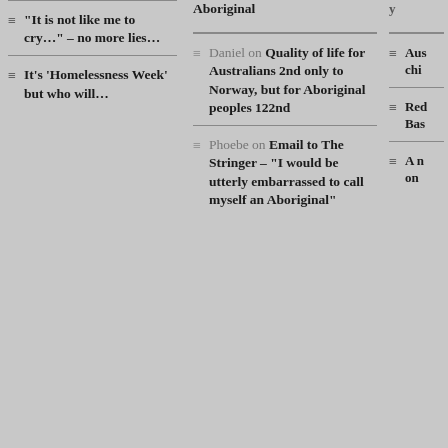“It is not like me to cry…” – no more lies…
It’s ‘Homelessness Week’ but who will…
Aboriginal
Daniel on Quality of life for Australians 2nd only to Norway, but for Aboriginal peoples 122nd
Phoebe on Email to The Stringer – “I would be utterly embarrassed to call myself an Aboriginal”
Aus chi
Red Bas
A n on